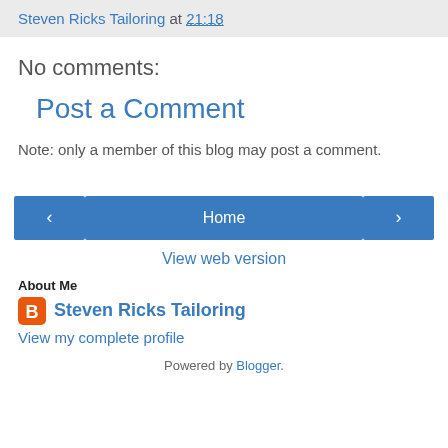Steven Ricks Tailoring at 21:18
No comments:
Post a Comment
Note: only a member of this blog may post a comment.
‹  Home  › View web version
About Me
Steven Ricks Tailoring
View my complete profile
Powered by Blogger.